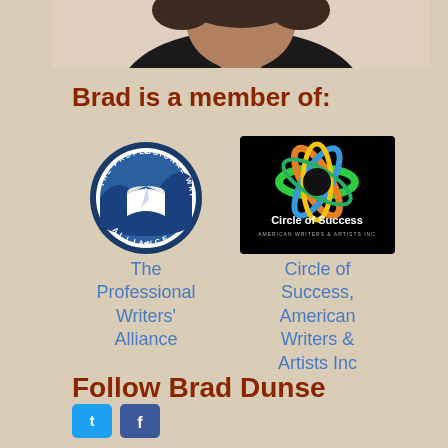[Figure (photo): Partial photo of a person (Brad Dunse) at the top of the page, showing the lower portion of a face/head with dark clothing]
Brad is a member of:
[Figure (logo): The Professional Writers' Alliance circular logo — blue and white design with book and wave imagery]
The Professional Writers' Alliance
[Figure (logo): Circle of Success, American Writers & Artists Inc logo — colorful globe/rings on black background]
Circle of Success, American Writers & Artists Inc
Follow Brad Dunse
[Figure (other): Social media icon buttons (Twitter/blue square and Facebook/blue square)]